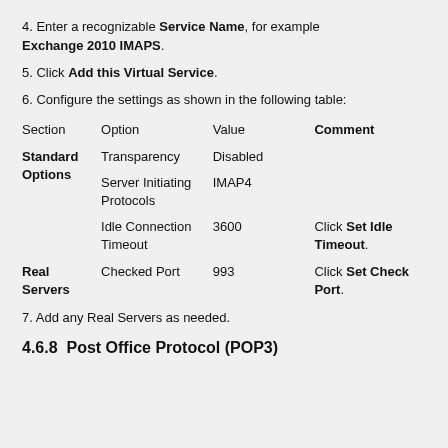4. Enter a recognizable Service Name, for example Exchange 2010 IMAPS.
5. Click Add this Virtual Service.
6. Configure the settings as shown in the following table:
| Section | Option | Value | Comment |
| --- | --- | --- | --- |
| Standard Options | Transparency | Disabled |  |
|  | Server Initiating Protocols | IMAP4 |  |
|  | Idle Connection Timeout | 3600 | Click Set Idle Timeout. |
| Real Servers | Checked Port | 993 | Click Set Check Port. |
7. Add any Real Servers as needed.
4.6.8  Post Office Protocol (POP3)